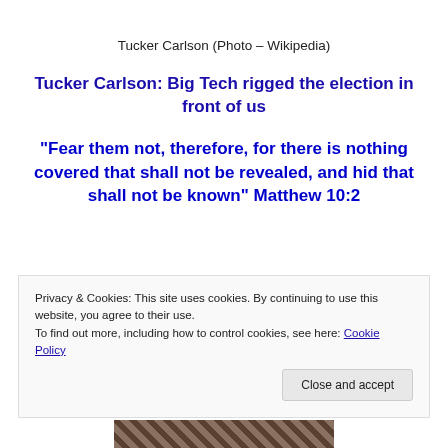Tucker Carlson (Photo – Wikipedia)
Tucker Carlson: Big Tech rigged the election in front of us
“Fear them not, therefore, for there is nothing covered that shall not be revealed, and hid that shall not be known” Matthew 10:2
Privacy & Cookies: This site uses cookies. By continuing to use this website, you agree to their use.
To find out more, including how to control cookies, see here: Cookie Policy
[Figure (photo): Partially visible photo of a person at the bottom of the page]